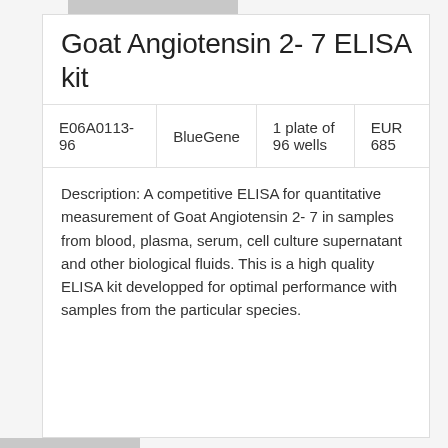Goat Angiotensin 2- 7 ELISA kit
|  |  |  |  |
| --- | --- | --- | --- |
| E06A0113-96 | BlueGene | 1 plate of 96 wells | EUR 685 |
Description: A competitive ELISA for quantitative measurement of Goat Angiotensin 2- 7 in samples from blood, plasma, serum, cell culture supernatant and other biological fluids. This is a high quality ELISA kit developped for optimal performance with samples from the particular species.